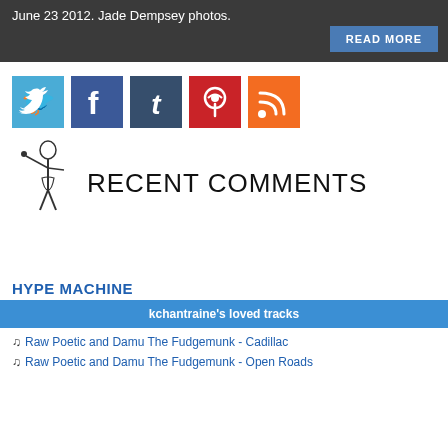June 23 2012. Jade Dempsey photos.
READ MORE
[Figure (illustration): Row of social media icon buttons: Twitter (blue bird), Facebook (blue f), Tumblr (dark blue t), Pinterest (red P), RSS (orange signal icon)]
[Figure (illustration): Vintage illustration of a man holding something up, next to large text RECENT COMMENTS]
HYPE MACHINE
kchantraine's loved tracks
♫ Raw Poetic and Damu The Fudgemunk - Cadillac
♫ Raw Poetic and Damu The Fudgemunk - Open Roads